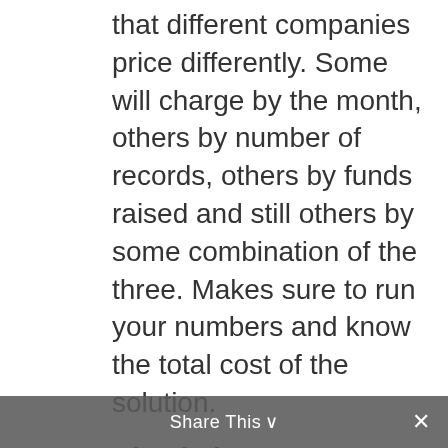that different companies price differently. Some will charge by the month, others by number of records, others by funds raised and still others by some combination of the three. Makes sure to run your numbers and know the total cost of the solution.
Check the Features
Do you live off a long dirt road? You might need a car with four-wheel drive. Are you going to be driving a lot of people? A coup might not be the best choice. Databases are the same. If you have members, make sure the database can track memberships. Do you do ticketing, need to track volunteers, receive significant planned giving, hold events? Make sure that the software is able accommodate those functions. Make a list of “must-haves” for your database and be very careful if the salesperson starts to
Share This